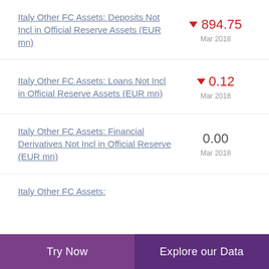Italy Other FC Assets: Deposits Not Incl in Official Reserve Assets (EUR mn)
Italy Other FC Assets: Loans Not Incl in Official Reserve Assets (EUR mn)
Italy Other FC Assets: Financial Derivatives Not Incl in Official Reserve (EUR mn)
Italy Other FC Assets:
Try Now
Explore our Data